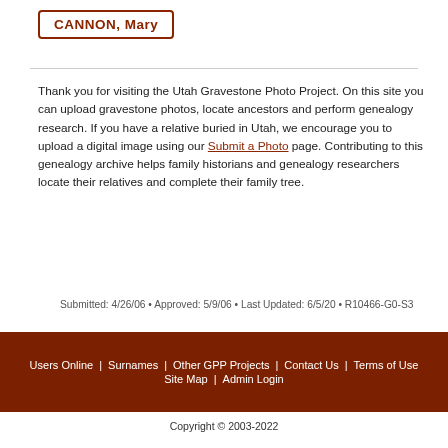CANNON, Mary
Thank you for visiting the Utah Gravestone Photo Project. On this site you can upload gravestone photos, locate ancestors and perform genealogy research. If you have a relative buried in Utah, we encourage you to upload a digital image using our Submit a Photo page. Contributing to this genealogy archive helps family historians and genealogy researchers locate their relatives and complete their family tree.
Submitted: 4/26/06 • Approved: 5/9/06 • Last Updated: 6/5/20 • R10466-G0-S3
Users Online | Surnames | Other GPP Projects | Contact Us | Terms of Use | Site Map | Admin Login
Copyright © 2003-2022
All Gravestone Photo Project Websites are independently managed.